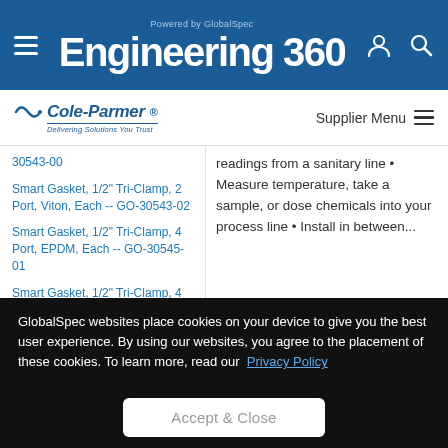Powered by GlobalSpec Engineering 360
[Figure (logo): Cole-Parmer logo with tagline 'Delivering Solutions You Trust']
Supplier Menu
Smart Gasket, 1/2" Tri-Clamp, 2 Port, Viton, Each -- GO-30543-00
Smart Gasket, 1/2" Tri-Clamp, 2 Port, Viton, Each -- GO-30543-02
Smart Gasket, 1/2" Tri-Clamp, 4 Port, EPDM, Each -- GO-30545-01
Smart Gasket, 1/2" Tri-Clamp, 4 Port, Silicone, Each -- GO-30545-00
readings from a sanitary line • Measure temperature, take a sample, or dose chemicals into your process line • Install in between...
GlobalSpec websites place cookies on your device to give you the best user experience. By using our websites, you agree to the placement of these cookies. To learn more, read our Privacy Policy
Accept & Close